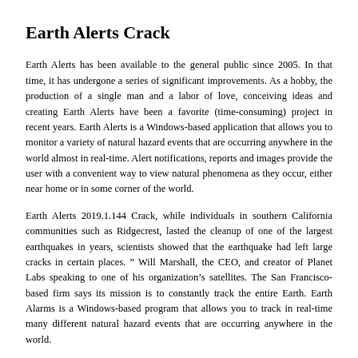Earth Alerts Crack
Earth Alerts has been available to the general public since 2005. In that time, it has undergone a series of significant improvements. As a hobby, the production of a single man and a labor of love, conceiving ideas and creating Earth Alerts have been a favorite (time-consuming) project in recent years. Earth Alerts is a Windows-based application that allows you to monitor a variety of natural hazard events that are occurring anywhere in the world almost in real-time. Alert notifications, reports and images provide the user with a convenient way to view natural phenomena as they occur, either near home or in some corner of the world.
Earth Alerts 2019.1.144 Crack, while individuals in southern California communities such as Ridgecrest, lasted the cleanup of one of the largest earthquakes in years, scientists showed that the earthquake had left large cracks in certain places. ” Will Marshall, the CEO, and creator of Planet Labs speaking to one of his organization’s satellites. The San Francisco-based firm says its mission is to constantly track the entire Earth. Earth Alarms is a Windows-based program that allows you to track in real-time many different natural hazard events that are occurring anywhere in the world.